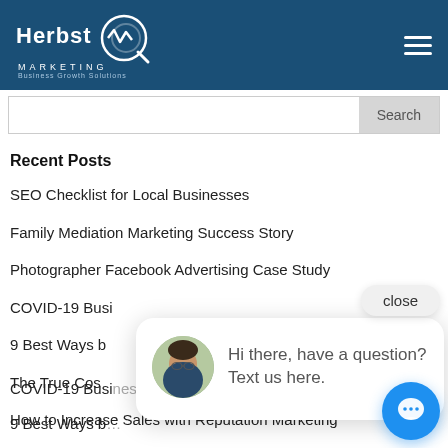[Figure (logo): Herbst Marketing logo with chart/magnifier icon on dark blue header background, with hamburger menu icon on the right]
Search
Recent Posts
SEO Checklist for Local Businesses
Family Mediation Marketing Success Story
Photographer Facebook Advertising Case Study
COVID-19 Business Survival Guide
9 Best Ways [partially obscured]
The True Cost [partially obscured]
How to Increase Sales with Reputation Marketing
New Website for Fauquier County Economic Development Agency
Top WordPress Website Designer Warrenton VA
[Figure (screenshot): Chat popup overlay with avatar photo of a woman, text reading 'Hi there, have a question? Text us here.' with a close button and blue chat FAB button]